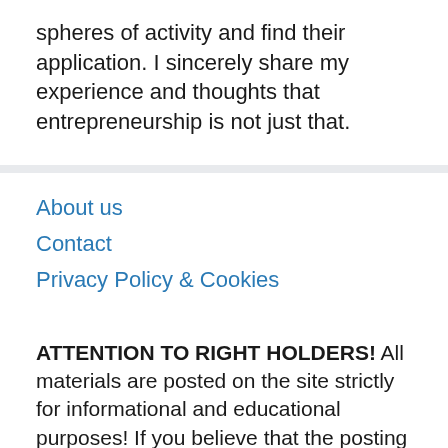spheres of activity and find their application. I sincerely share my experience and thoughts that entrepreneurship is not just that.
About us
Contact
Privacy Policy & Cookies
ATTENTION TO RIGHT HOLDERS! All materials are posted on the site strictly for informational and educational purposes! If you believe that the posting of any material infringes your copyright, be sure to contact us through the contact form and your